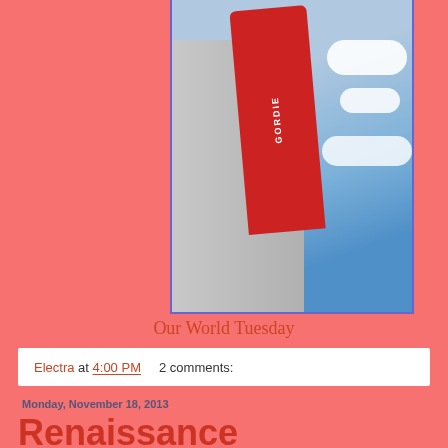[Figure (photo): Photo of a red vertical neon sign ('GORDIE' or similar) on a building exterior with blue sky and white clouds in the background, framed with a blue/purple border]
Our World Tuesday
Electra at 4:00 PM    2 comments:
Monday, November 18, 2013
Renaissance
for Sunday Postcard Art
[Figure (photo): Partial view of a decorative postcard or artwork at bottom of page, framed with blue/purple border]